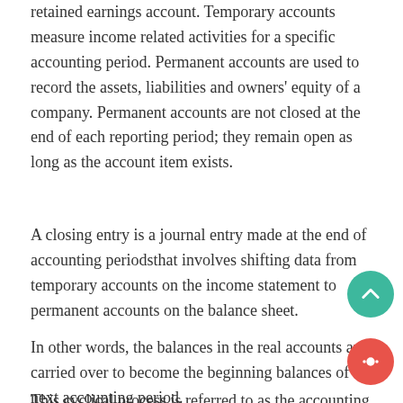retained earnings account. Temporary accounts measure income related activities for a specific accounting period. Permanent accounts are used to record the assets, liabilities and owners' equity of a company. Permanent accounts are not closed at the end of each reporting period; they remain open as long as the account item exists.
A closing entry is a journal entry made at the end of accounting periodsthat involves shifting data from temporary accounts on the income statement to permanent accounts on the balance sheet.
In other words, the balances in the real accounts are carried over to become the beginning balances of the next accounting period.
This cyclical process is referred to as the accounting cycle, and one of the last few steps in the process is the